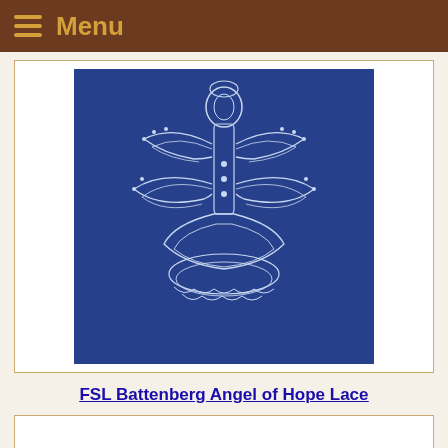Menu
[Figure (photo): White Battenberg lace angel design on a dark blue background — intricate lacework forming an angel shape with wings and decorative patterns]
FSL Battenberg Angel of Hope Lace
[Figure (photo): Partial view of colorful embroidered lace pieces — green and red/pink designs visible at the bottom of the page]